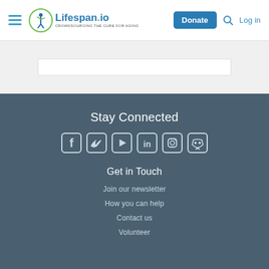Lifespan.io — CROWDSOURCING THE CURE FOR AGING | Donate | Log in
Stay Connected
[Figure (infographic): Social media icons: Facebook, Twitter, YouTube, LinkedIn, Instagram, Discord]
Get in Touch
Join our newsletter
How you can help
Contact us
Volunteer